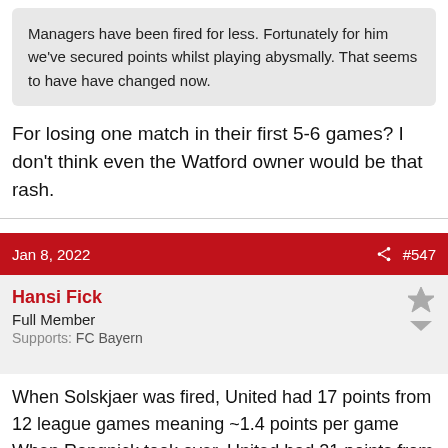Managers have been fired for less. Fortunately for him we've secured points whilst playing abysmally. That seems to have have changed now.
For losing one match in their first 5-6 games? I don't think even the Watford owner would be that rash.
Jan 8, 2022  #547
Hansi Fick
Full Member
Supports: FC Bayern
When Solskjaer was fired, United had 17 points from 12 league games meaning ~1.4 points per game
When Rangnick took over, United had 21 points from 14 games, meaning 1.5 ponts per game. Carrick had managed 2 ppp in his 2 games...